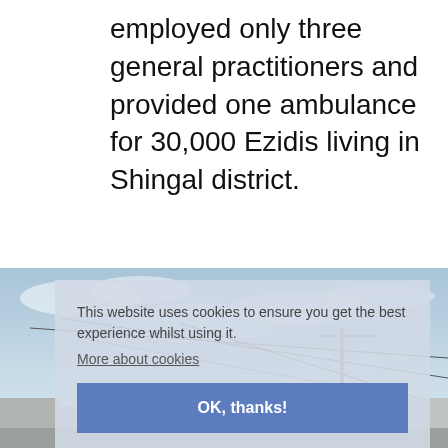employed only three general practitioners and provided one ambulance for 30,000 Ezidis living in Shingal district.
[Figure (photo): Outdoor street scene with power lines against a blue sky, buildings and vehicles visible in the lower portion.]
This website uses cookies to ensure you get the best experience whilst using it.
More about cookies
OK, thanks!